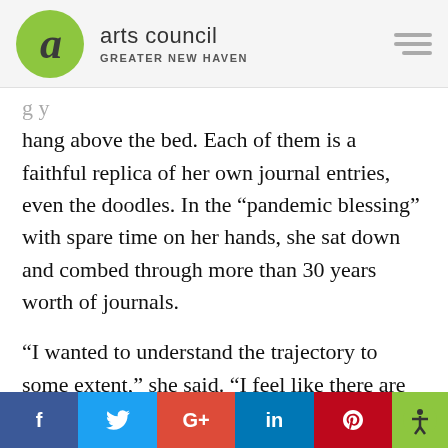arts council GREATER NEW HAVEN
hang above the bed. Each of them is a faithful replica of her own journal entries, even the doodles. In the “pandemic blessing” with spare time on her hands, she sat down and combed through more than 30 years worth of journals.
“I wanted to understand the trajectory to some extent,” she said. “I feel like there are these big holes in my childhood … growing
f  🐦  G+  in  🗕